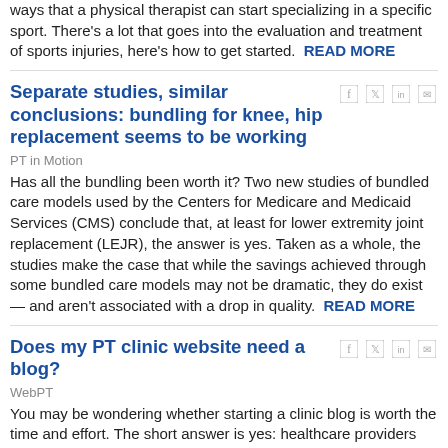ways that a physical therapist can start specializing in a specific sport. There's a lot that goes into the evaluation and treatment of sports injuries, here's how to get started.  READ MORE
Separate studies, similar conclusions: bundling for knee, hip replacement seems to be working
PT in Motion
Has all the bundling been worth it? Two new studies of bundled care models used by the Centers for Medicare and Medicaid Services (CMS) conclude that, at least for lower extremity joint replacement (LEJR), the answer is yes. Taken as a whole, the studies make the case that while the savings achieved through some bundled care models may not be dramatic, they do exist — and aren't associated with a drop in quality.  READ MORE
Does my PT clinic website need a blog?
WebPT
You may be wondering whether starting a clinic blog is worth the time and effort. The short answer is yes: healthcare providers definitely benefit from including blogs on their websites. Read on to find out why. Blogging: It's a lot of work, right?  READ MORE